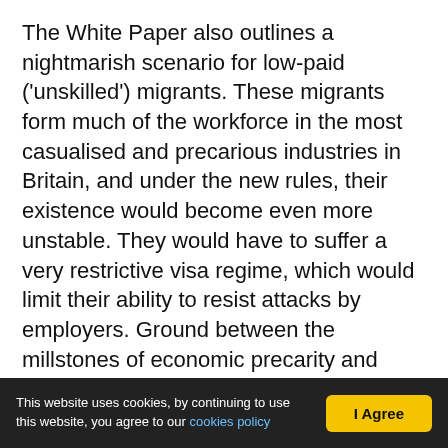The White Paper also outlines a nightmarish scenario for low-paid ('unskilled') migrants. These migrants form much of the workforce in the most casualised and precarious industries in Britain, and under the new rules, their existence would become even more unstable. They would have to suffer a very restrictive visa regime, which would limit their ability to resist attacks by employers. Ground between the millstones of economic precarity and uncertain political status, their oppression will only be deepened.
Finally, the proposals are likely to wreak havoc on the lives of thousands of EU citizens already in the UK. They...
This website uses cookies, by continuing to use this website, you agree to our cookies policy | I Agree